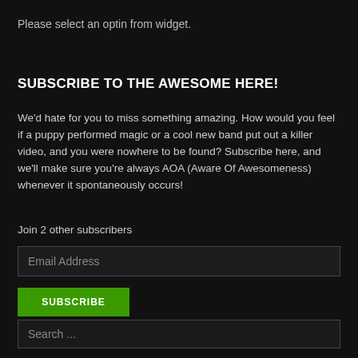Please select an optin from widget.
SUBSCRIBE TO THE AWESOME HERE!
We'd hate for you to miss something amazing. How would you feel if a puppy performed magic or a cool new band put out a killer video, and you were nowhere to be found? Subscribe here, and we'll make sure you're always AOA (Aware Of Awesomeness) whenever it spontaneously occurs!
Join 2 other subscribers
Email Address
SUBSCRIBE
Search ...